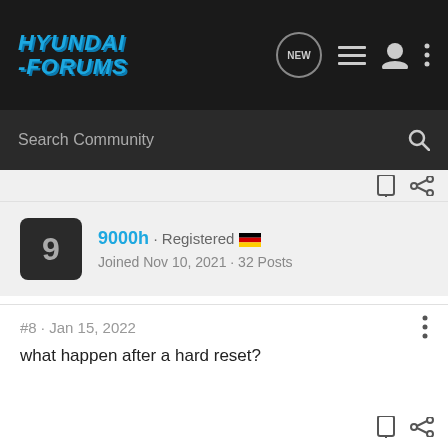HYUNDAI-FORUMS
Search Community
9000h · Registered
Joined Nov 10, 2021 · 32 Posts
#8 · Jan 15, 2022
what happen after a hard reset?